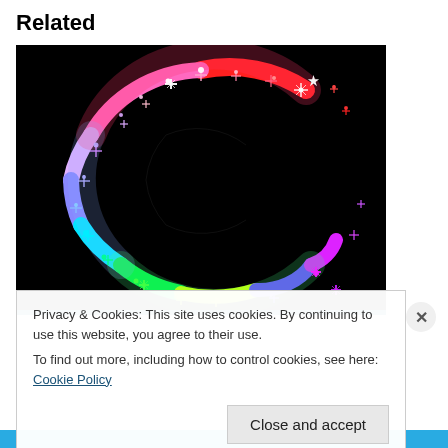Related
[Figure (illustration): A colorful rainbow swirling letter C made of sparkles and stars on a black background. Colors transition from red at top, through pink, white, purple, blue, cyan, green, yellow-green, and back through blue and magenta at the bottom right.]
Privacy & Cookies: This site uses cookies. By continuing to use this website, you agree to their use.
To find out more, including how to control cookies, see here: Cookie Policy
Close and accept